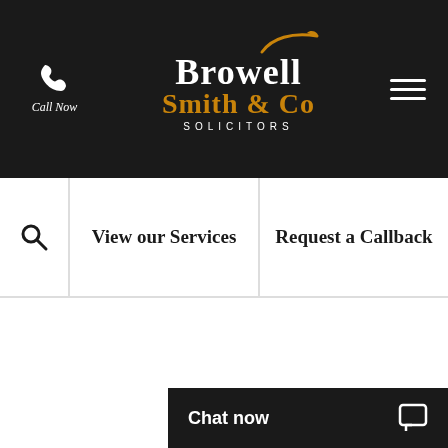[Figure (logo): Browell Smith & Co Solicitors logo with swoosh graphic in orange/gold on black header bar]
Call Now
View our Services
Request a Callback
Chat now